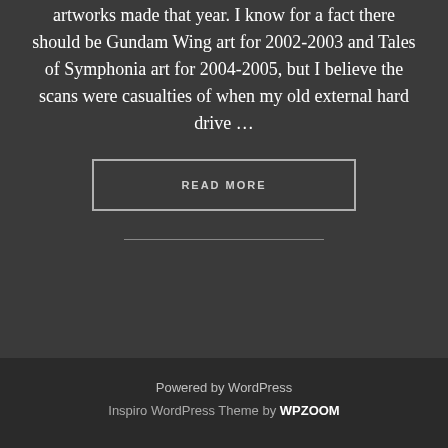artworks made that year. I know for a fact there should be Gundam Wing art for 2002-2003 and Tales of Symphonia art for 2004-2005, but I believe the scans were casualties of when my old external hard drive …
READ MORE
Powered by WordPress
Inspiro WordPress Theme by WPZOOM